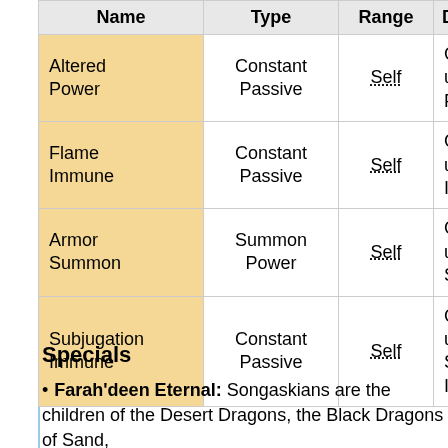| Name | Type | Range | Description |
| --- | --- | --- | --- |
| Altered Power | Constant Passive | Self | Grants the user Altered Power |
| Flame Immune | Constant Passive | Self | Grants the user Flame Immune |
| Armor Summon | Summon Power | Self | Grants the user Armor Summon |
| Subjugation Immune | Constant Passive | Self | Grants the user Subjugation Immune |
Specials
Farah'deen Eternal: Songaskians are the children of the Desert Dragons, the Black Dragons of Sand,